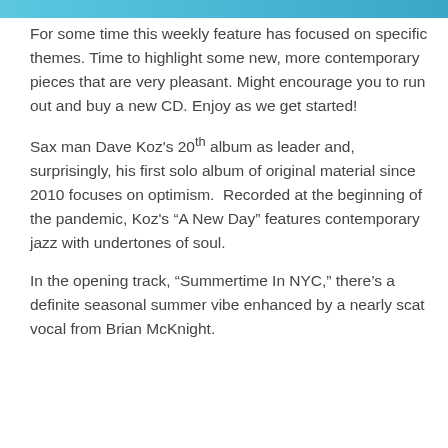[Figure (other): Light blue decorative header bar at the top of the page]
For some time this weekly feature has focused on specific themes. Time to highlight some new, more contemporary pieces that are very pleasant. Might encourage you to run out and buy a new CD. Enjoy as we get started!
Sax man Dave Koz's 20th album as leader and, surprisingly, his first solo album of original material since 2010 focuses on optimism. Recorded at the beginning of the pandemic, Koz's “A New Day” features contemporary jazz with undertones of soul.
In the opening track, “Summertime In NYC,” there’s a definite seasonal summer vibe enhanced by a nearly scat vocal from Brian McKnight.